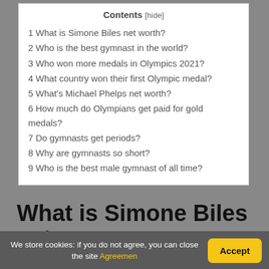Contents [hide]
1 What is Simone Biles net worth?
2 Who is the best gymnast in the world?
3 Who won more medals in Olympics 2021?
4 What country won their first Olympic medal?
5 What's Michael Phelps net worth?
6 How much do Olympians get paid for gold medals?
7 Do gymnasts get periods?
8 Why are gymnasts so short?
9 Who is the best male gymnast of all time?
What is Simone Biles net
We store cookies: if you do not agree, you can close the site Agreemen